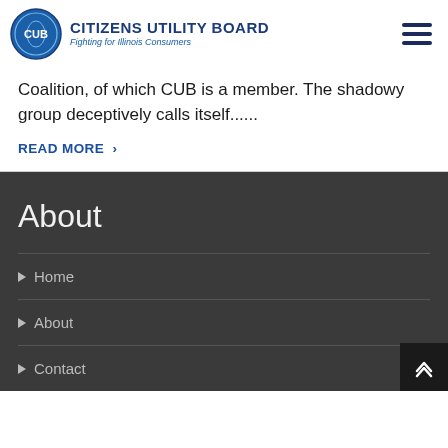Citizens Utility Board — Fighting for Illinois Consumers
Coalition, of which CUB is a member. The shadowy group deceptively calls itself......
READ MORE >
About
Home
About
Contact